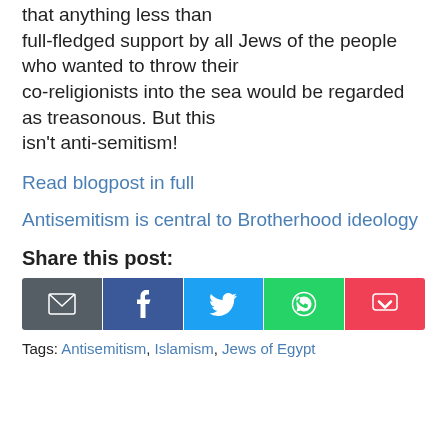that anything less than full-fledged support by all Jews of the people who wanted to throw their co-religionists into the sea would be regarded as treasonous. But this isn't anti-semitism!
Read blogpost in full
Antisemitism is central to Brotherhood ideology
Share this post:
[Figure (other): Share buttons: Email, Facebook, Twitter, WhatsApp, Pocket]
Tags: Antisemitism, Islamism, Jews of Egypt